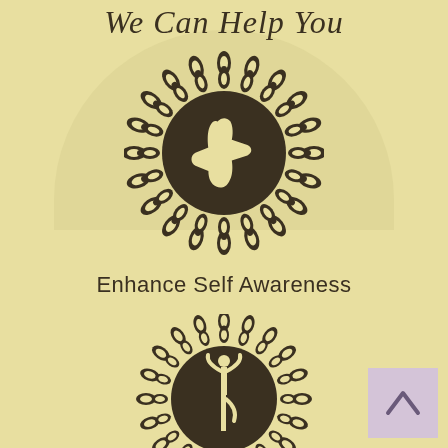We Can Help You
[Figure (illustration): Mandala circle with dark background containing a white yoga pose silhouette (seated/meditation pose). Decorative mandala border pattern around the circle.]
Enhance Self Awareness
[Figure (illustration): Mandala circle with dark background containing a white yoga pose silhouette (tree pose / standing balance). Decorative mandala border pattern around the circle.]
[Figure (illustration): Light purple square button with upward-pointing chevron arrow, positioned at bottom right of the page.]